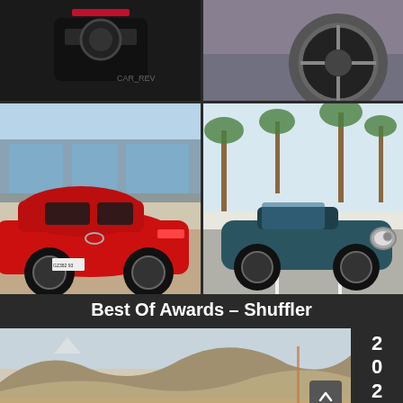[Figure (photo): Top-left: dark car front grille close-up with CAR_REV watermark]
[Figure (photo): Top-right: close-up of a grey car wheel/rim]
[Figure (photo): Middle-left: red Nissan Z sports car rear three-quarter view at dealership]
[Figure (photo): Middle-right: dark teal MINI Cooper convertible in parking lot with palm trees]
Best Of Awards – Shuffler
[Figure (photo): Bottom: landscape photo of desert/arid hills terrain]
2 0 2 0
8 SHARES   social icons: Facebook, Twitter, Email, Pinterest, WhatsApp, Plus